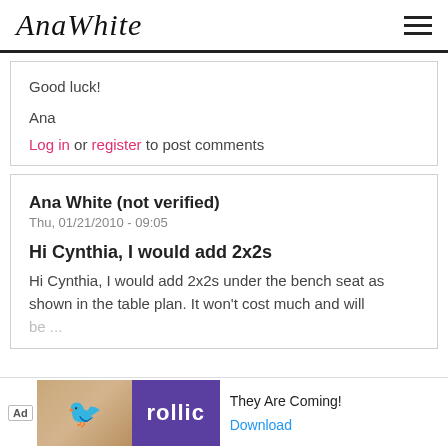Ana White
Good luck!
Ana
Log in or register to post comments
Ana White (not verified)
Thu, 01/21/2010 - 09:05
Hi Cynthia, I would add 2x2s
Hi Cynthia, I would add 2x2s under the bench seat as shown in the table plan. It won't cost much and will be ...
[Figure (other): Advertisement banner at the bottom with Rollic game ad]